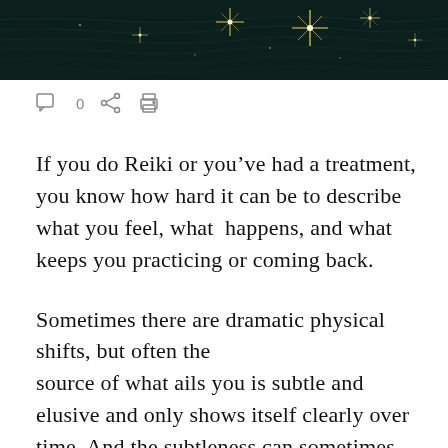[Figure (photo): Dark night sky or water surface with bright star-like light reflections/glints on a dark teal-black background]
[Figure (infographic): Toolbar icons: comment bubble with count 0, share icon, and print/document icon]
If you do Reiki or you've had a treatment, you know how hard it can be to describe what you feel, what happens, and what keeps you practicing or coming back.
Sometimes there are dramatic physical shifts, but often the source of what ails you is subtle and elusive and only shows itself clearly over time. And the subtleness can sometimes lead to doubt and not using Reiki.
A new friend of mine recently came to the office